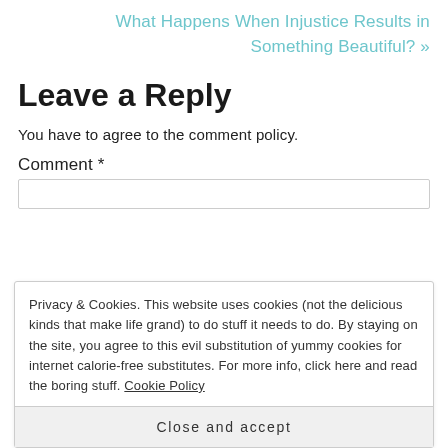What Happens When Injustice Results in Something Beautiful? »
Leave a Reply
You have to agree to the comment policy.
Comment *
Privacy & Cookies. This website uses cookies (not the delicious kinds that make life grand) to do stuff it needs to do. By staying on the site, you agree to this evil substitution of yummy cookies for internet calorie-free substitutes. For more info, click here and read the boring stuff. Cookie Policy
Close and accept